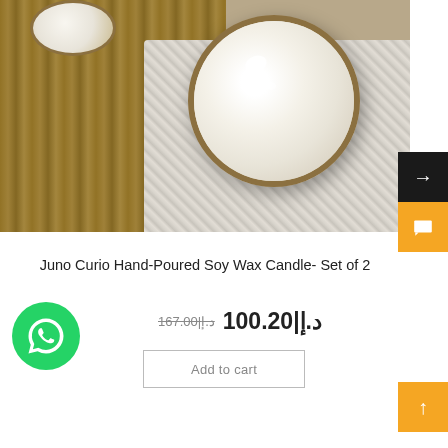[Figure (photo): Top-down photo of a soy wax candle in a brass/bronze bowl on a linen fabric with a wooden surface, and a smaller candle visible at the top left.]
Juno Curio Hand-Poured Soy Wax Candle- Set of 2
167.00|د (strikethrough) 100.20|د
Add to cart